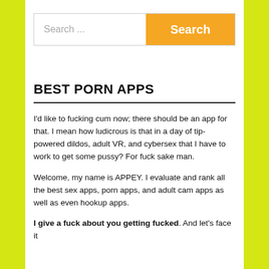[Figure (screenshot): Search bar with text input field showing 'Search ...' placeholder and an orange 'Search' button]
BEST PORN APPS
I'd like to fucking cum now; there should be an app for that. I mean how ludicrous is that in a day of tip-powered dildos, adult VR, and cybersex that I have to work to get some pussy? For fuck sake man.
Welcome, my name is APPEY. I evaluate and rank all the best sex apps, porn apps, and adult cam apps as well as even hookup apps.
I give a fuck about you getting fucked. And let's face it